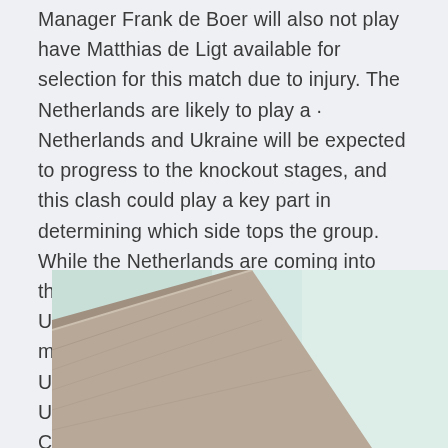Manager Frank de Boer will also not play have Matthias de Ligt available for selection for this match due to injury. The Netherlands are likely to play a · Netherlands and Ukraine will be expected to progress to the knockout stages, and this clash could play a key part in determining which side tops the group. While the Netherlands are coming into this match after hammering Georgia 3-0, Ukraine, on the other hand, defeated ten-man Cyprus 4-0. Both the · Euro 2020 UEFA EURO 2020, Netherlands vs Ukraine LIVE streaming in India: Complete match details and TV channels.
[Figure (photo): Partial view of what appears to be a concrete or stone structure with diagonal lines, against a light blue-green sky background.]